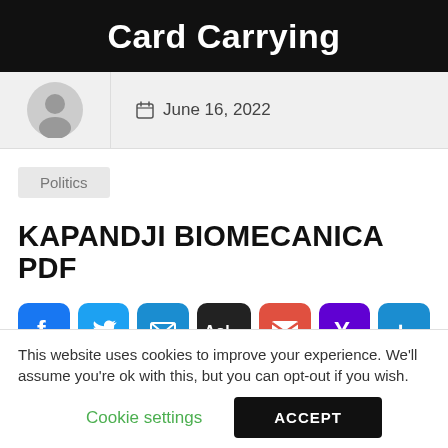Card Carrying
June 16, 2022
Politics
KAPANDJI BIOMECANICA PDF
[Figure (other): Social share icons: Facebook, Twitter, Email, AOL, Gmail, Yahoo, More]
This website uses cookies to improve your experience. We'll assume you're ok with this, but you can opt-out if you wish.
Cookie settings
ACCEPT